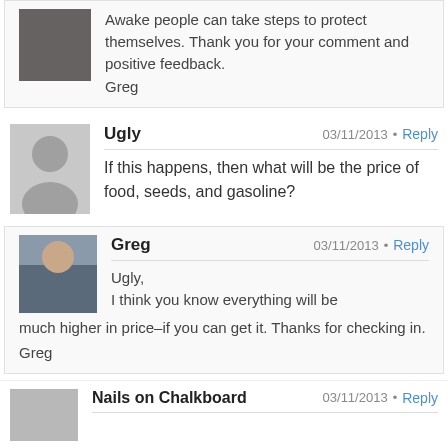Awake people can take steps to protect themselves. Thank you for your comment and positive feedback.
Greg
Ugly
03/11/2013 • Reply
If this happens, then what will be the price of food, seeds, and gasoline?
Greg
03/11/2013 • Reply
Ugly,
I think you know everything will be much higher in price–if you can get it. Thanks for checking in.
Greg
Nails on Chalkboard
03/11/2013 • Reply